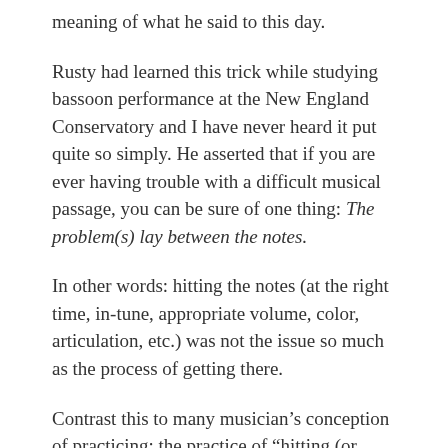meaning of what he said to this day.
Rusty had learned this trick while studying bassoon performance at the New England Conservatory and I have never heard it put quite so simply. He asserted that if you are ever having trouble with a difficult musical passage, you can be sure of one thing: The problem(s) lay between the notes.
In other words: hitting the notes (at the right time, in-tune, appropriate volume, color, articulation, etc.) was not the issue so much as the process of getting there.
Contrast this to many musician’s conception of practicing; the practice of “hitting (or arriving at) the notes.” We tend to trust that our bodies will be able to sort out the rest and if anything goes wrong the answer